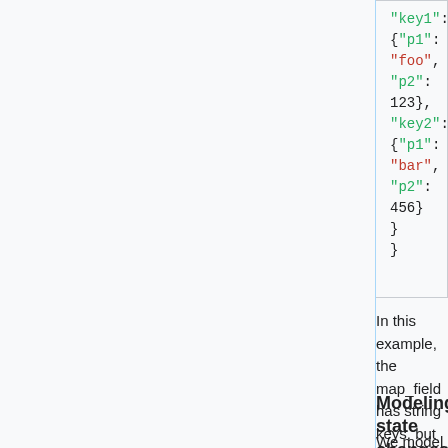[Figure (screenshot): Code block showing JSON-like nested object with keys 'key1' and 'key2', each mapping to objects with 'p1' (string) and 'p2' (number) fields.]
In this example, the map_field has string keys, but complex struct (object) types.
Modeling state changes
We model state changes by providing the current (new) state as well as the previous state in the same event, rather than attempting to provide a diff of the change. We do so by providing the current state as data fields in the main event body, and providing the previous state as a subobject called 'prior_state' with the same state fields from the main event body.